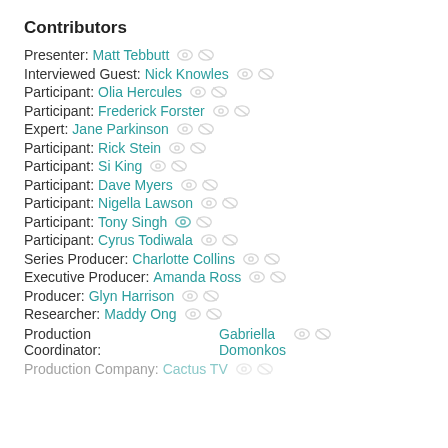Contributors
Presenter: Matt Tebbutt
Interviewed Guest: Nick Knowles
Participant: Olia Hercules
Participant: Frederick Forster
Expert: Jane Parkinson
Participant: Rick Stein
Participant: Si King
Participant: Dave Myers
Participant: Nigella Lawson
Participant: Tony Singh
Participant: Cyrus Todiwala
Series Producer: Charlotte Collins
Executive Producer: Amanda Ross
Producer: Glyn Harrison
Researcher: Maddy Ong
Production Coordinator: Gabriella Domonkos
Production Company: Cactus TV